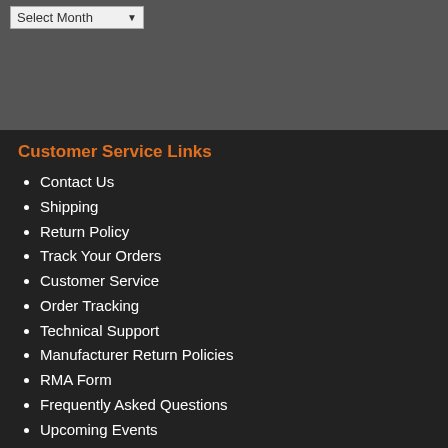Customer Service Links
Contact Us
Shipping
Return Policy
Track Your Orders
Customer Service
Order Tracking
Technical Support
Manufacturer Return Policies
RMA Form
Frequently Asked Questions
Upcoming Events
Customer Reviews
Privacy Policy
Helpful Links